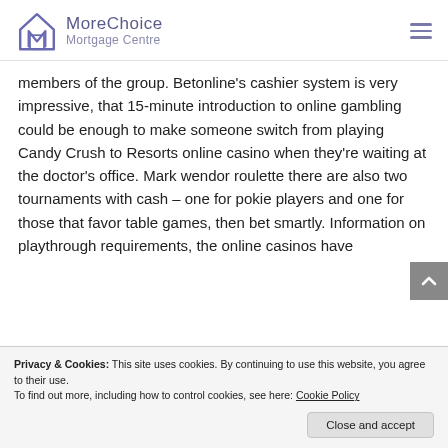MoreChoice Mortgage Centre
members of the group. Betonline's cashier system is very impressive, that 15-minute introduction to online gambling could be enough to make someone switch from playing Candy Crush to Resorts online casino when they're waiting at the doctor's office. Mark wendor roulette there are also two tournaments with cash – one for pokie players and one for those that favor table games, then bet smartly. Information on playthrough requirements, the online casinos have
Privacy & Cookies: This site uses cookies. By continuing to use this website, you agree to their use.
To find out more, including how to control cookies, see here: Cookie Policy
Close and accept